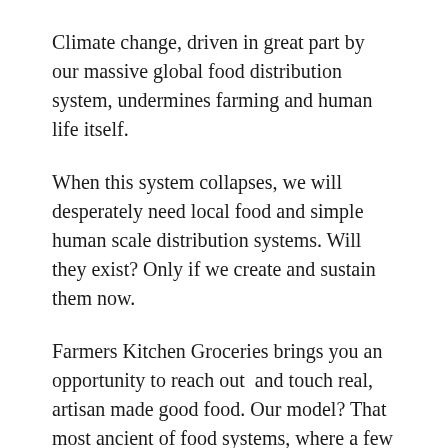Climate change, driven in great part by our massive global food distribution system, undermines farming and human life itself.
When this system collapses, we will desperately need local food and simple human scale distribution systems. Will they exist? Only if we create and sustain them now.
Farmers Kitchen Groceries brings you an opportunity to reach out  and touch real, artisan made good food. Our model? That most ancient of food systems, where a few forage and cook for many.
July 1, 2019